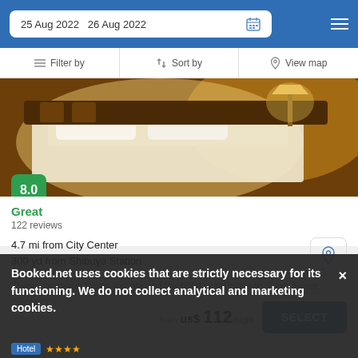25 Aug 2022  26 Aug 2022
Filter by   Sort by   View map
[Figure (photo): Hotel room interior showing a bed with white linens and warm lighting]
8.0
Great
122 reviews
4.7 mi from City Center
300 yd from Shibuya Station
There are rooms facing the city and the hotel is set close to Tokyo Tower.
from  us$ 112/night
SELECT
Booked.net uses cookies that are strictly necessary for its functioning. We do not collect analytical and marketing cookies.
Hotel ★★★★